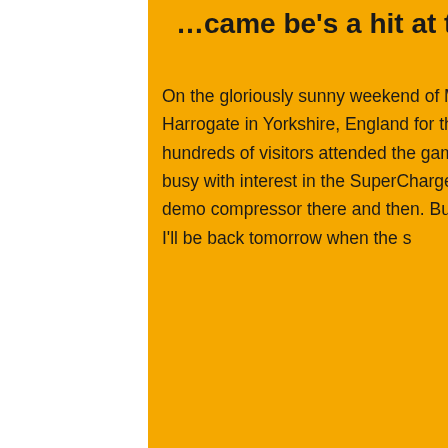...came be's a hit at the Northern Shooting Show
On the gloriously sunny weekend of May 7/8th, we travelled North to the beautiful town of Harrogate in Yorkshire, England for the new Northern Shooting Show. Hundreds and hundreds of visitors attended the game fair over the 2 days, and our stand was constantly busy with interest in the SuperCharger and its accessories. One visitor insisted he buy the demo compressor there and then. But we needed it to show to other visitors. "Okay, I'll wait. I'll be back tomorrow when the s
[Figure (photo): A person photographed from the chest up, in a dark environment, partially visible at the bottom of the orange content area.]
Phone  Email  Facebook